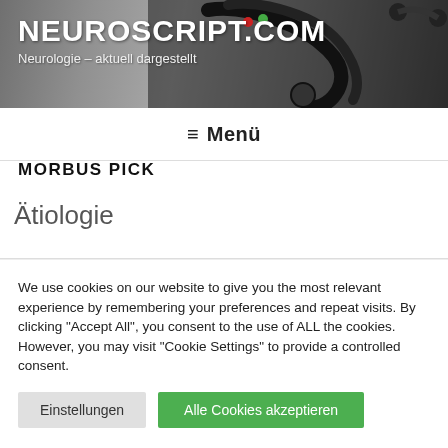NEUROSCRIPT.COM
Neurologie – aktuell dargestellt
≡ Menü
MORBUS PICK
Ätiologie
We use cookies on our website to give you the most relevant experience by remembering your preferences and repeat visits. By clicking "Accept All", you consent to the use of ALL the cookies. However, you may visit "Cookie Settings" to provide a controlled consent.
Einstellungen | Alle Cookies akzeptieren